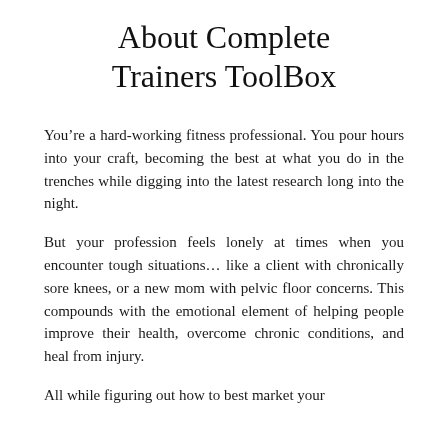About Complete Trainers ToolBox
You’re a hard-working fitness professional. You pour hours into your craft, becoming the best at what you do in the trenches while digging into the latest research long into the night.
But your profession feels lonely at times when you encounter tough situations… like a client with chronically sore knees, or a new mom with pelvic floor concerns. This compounds with the emotional element of helping people improve their health, overcome chronic conditions, and heal from injury.
All while figuring out how to best market your